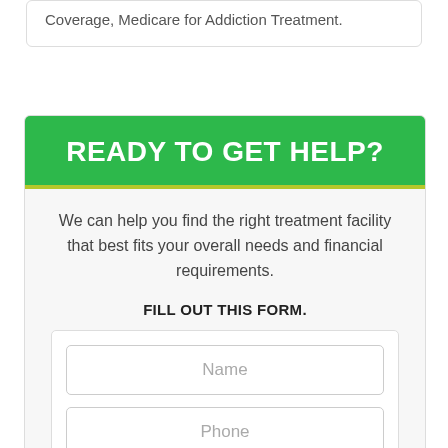Coverage, Medicare for Addiction Treatment.
READY TO GET HELP?
We can help you find the right treatment facility that best fits your overall needs and financial requirements.
FILL OUT THIS FORM.
Name
Phone